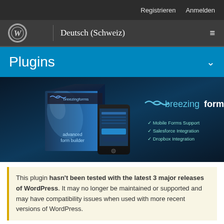Registrieren   Anmelden
WordPress | Deutsch (Schweiz)
Plugins
[Figure (screenshot): BreezingForms plugin banner showing a software box and smartphone with text: Mobile Forms Support, Salesforce Integration, Dropbox Integration]
This plugin hasn't been tested with the latest 3 major releases of WordPress. It may no longer be maintained or supported and may have compatibility issues when used with more recent versions of WordPress.